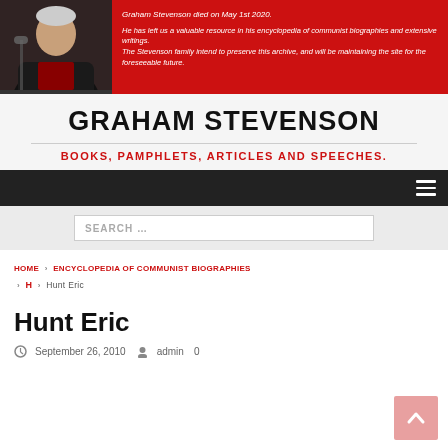Graham Stevenson died on May 1st 2020. He has left us a valuable resource in his encyclopedia of communist biographies and extensive writings. The Stevenson family intend to preserve this archive, and will be maintaining the site for the foreseeable future.
GRAHAM STEVENSON
BOOKS, PAMPHLETS, ARTICLES AND SPEECHES.
HOME › ENCYCLOPEDIA OF COMMUNIST BIOGRAPHIES › H › Hunt Eric
Hunt Eric
September 26, 2010   admin   0